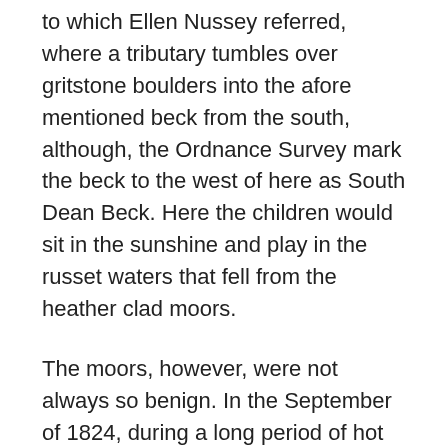to which Ellen Nussey referred, where a tributary tumbles over gritstone boulders into the afore mentioned beck from the south, although, the Ordnance Survey mark the beck to the west of here as South Dean Beck. Here the children would sit in the sunshine and play in the russet waters that fell from the heather clad moors.
The moors, however, were not always so benign. In the September of 1824, during a long period of hot weather, whilst the eldest three Brontë children, Maria, Elizabeth and Charlotte, were away from home at the Clergy Daughters' School in Cowan Bridge, Branwell, Emily and Anne had, as was their daily routine, ventured out onto the moors in the company of Sarah and Nancy Garrs. On this particular Thursday afternoon, the little group was